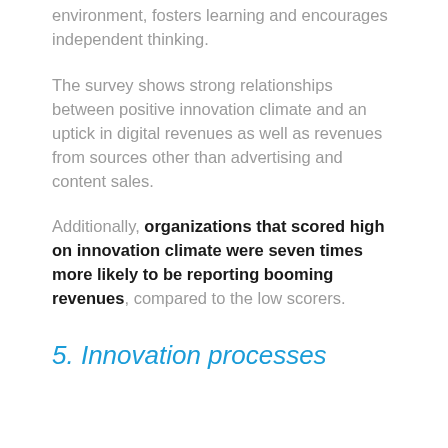environment, fosters learning and encourages independent thinking.
The survey shows strong relationships between positive innovation climate and an uptick in digital revenues as well as revenues from sources other than advertising and content sales.
Additionally, organizations that scored high on innovation climate were seven times more likely to be reporting booming revenues, compared to the low scorers.
5. Innovation processes